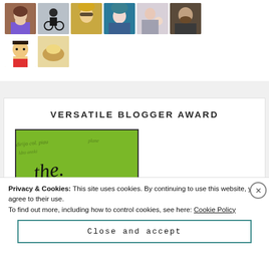[Figure (photo): Grid of user avatar photos/thumbnails arranged in two rows. Top row has 6 avatars (people photos), second row has 2 avatars (cartoon character and food image).]
VERSATILE BLOGGER AWARD
[Figure (photo): Image with green handwritten-text background showing the word 'the' in handwriting style]
Privacy & Cookies: This site uses cookies. By continuing to use this website, you agree to their use.
To find out more, including how to control cookies, see here: Cookie Policy
Close and accept